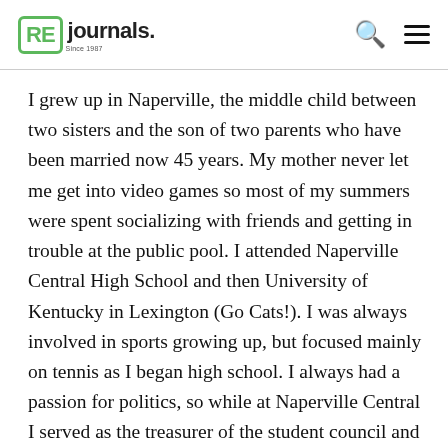REjournals
I grew up in Naperville, the middle child between two sisters and the son of two parents who have been married now 45 years. My mother never let me get into video games so most of my summers were spent socializing with friends and getting in trouble at the public pool. I attended Naperville Central High School and then University of Kentucky in Lexington (Go Cats!). I was always involved in sports growing up, but focused mainly on tennis as I began high school. I always had a passion for politics, so while at Naperville Central I served as the treasurer of the student council and then a student council senator at Kentucky.